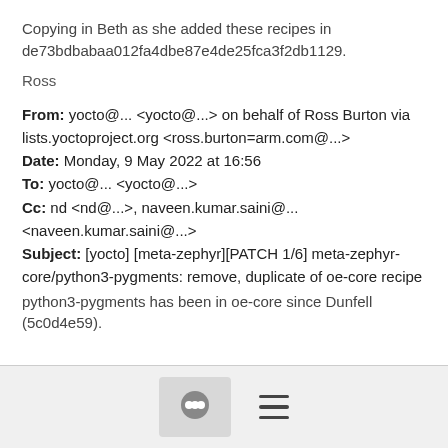Copying in Beth as she added these recipes in de73bdbabaa012fa4dbe87e4de25fca3f2db1129.
Ross
From: yocto@... <yocto@...> on behalf of Ross Burton via lists.yoctoproject.org <ross.burton=arm.com@...>
Date: Monday, 9 May 2022 at 16:56
To: yocto@... <yocto@...>
Cc: nd <nd@...>, naveen.kumar.saini@... <naveen.kumar.saini@...>
Subject: [yocto] [meta-zephyr][PATCH 1/6] meta-zephyr-core/python3-pygments: remove, duplicate of oe-core recipe
python3-pygments has been in oe-core since Dunfell (5c0d4e59).
[Figure (other): Footer bar with chat bubble icon button and hamburger menu icon]